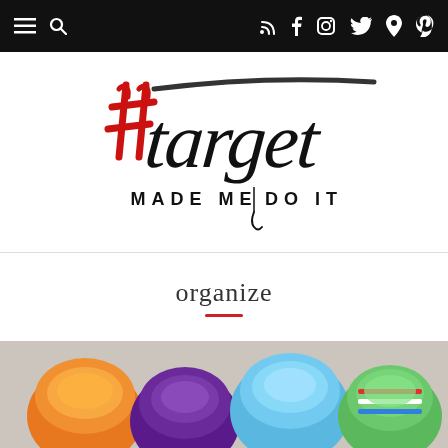Navigation bar with menu, search, RSS, Facebook, Instagram, Twitter, location, Pinterest icons
[Figure (logo): #target MADE ME DO IT blog logo — hashtag in red brushstroke, 'target' in black handwritten script, 'MADE ME DO IT' in black sans-serif below]
organize
[Figure (photo): Colorful rolled socks in orange, purple, light blue, green, and striped, arranged in a basket or container]